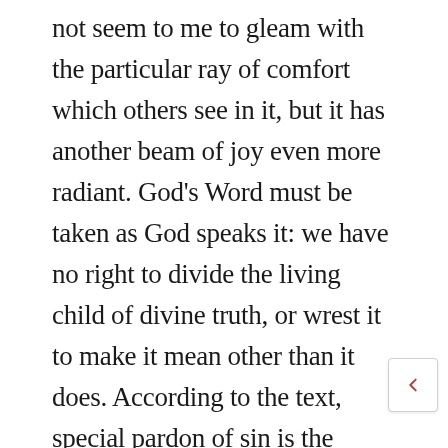not seem to me to gleam with the particular ray of comfort which others see in it, but it has another beam of joy even more radiant. God's Word must be taken as God speaks it: we have no right to divide the living child of divine truth, or wrest it to make it mean other than it does. According to the text, special pardon of sin is the peculiar privilege of those who walk in the light as God is in the light, and it is not the privilege of any one else. Only those who have been brought by divine grace from a state of nature into a state of